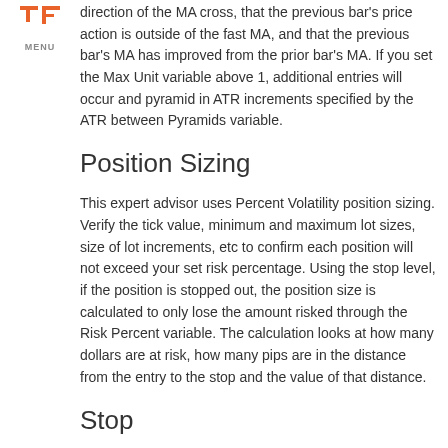[Figure (logo): TF logo in orange with MENU label below]
direction of the MA cross, that the previous bar's price action is outside of the fast MA, and that the previous bar's MA has improved from the prior bar's MA. If you set the Max Unit variable above 1, additional entries will occur and pyramid in ATR increments specified by the ATR between Pyramids variable.
Position Sizing
This expert advisor uses Percent Volatility position sizing. Verify the tick value, minimum and maximum lot sizes, size of lot increments, etc to confirm each position will not exceed your set risk percentage. Using the stop level, if the position is stopped out, the position size is calculated to only lose the amount risked through the Risk Percent variable. The calculation looks at how many dollars are at risk, how many pips are in the distance from the entry to the stop and the value of that distance.
Stop
The stop is set using multiples of the ATR. Basing the stop on the ATR allows the stop to be placed out of the